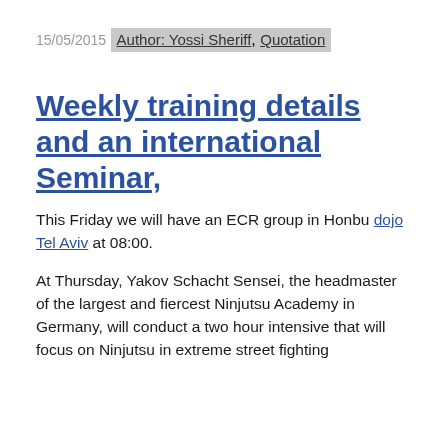15/05/2015
Author: Yossi Sheriff, Quotation
Weekly training details and an international Seminar,
This Friday we will have an ECR group in Honbu dojo Tel Aviv at 08:00.
At Thursday, Yakov Schacht Sensei, the headmaster of the largest and fiercest Ninjutsu Academy in Germany, will conduct a two hour intensive that will focus on Ninjutsu in extreme street fighting